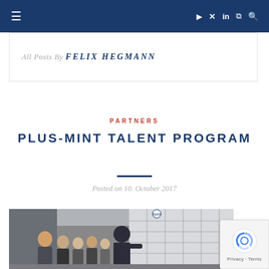≡  ▶ ✕ in ))) 🔍
All Posts By FELIX HEGMANN
PARTNERS
PLUS-MINT TALENT PROGRAM
Posted on 10. October 2017
[Figure (photo): Group of students and an instructor looking at a large display board in an industrial/technical facility]